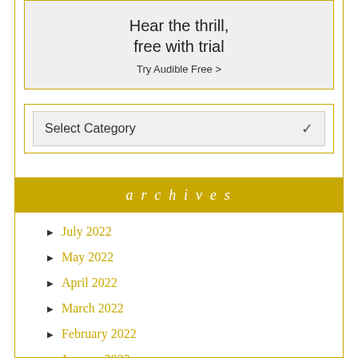[Figure (other): Audible advertisement banner with text 'Hear the thrill, free with trial' and 'Try Audible Free >']
Select Category
archives
July 2022
May 2022
April 2022
March 2022
February 2022
January 2022